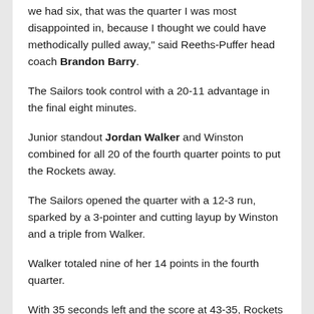we had six, that was the quarter I was most disappointed in, because I thought we could have methodically pulled away," said Reeths-Puffer head coach Brandon Barry.
The Sailors took control with a 20-11 advantage in the final eight minutes.
Junior standout Jordan Walker and Winston combined for all 20 of the fourth quarter points to put the Rockets away.
The Sailors opened the quarter with a 12-3 run, sparked by a 3-pointer and cutting layup by Winston and a triple from Walker.
Walker totaled nine of her 14 points in the fourth quarter.
With 35 seconds left and the score at 43-35, Rockets...